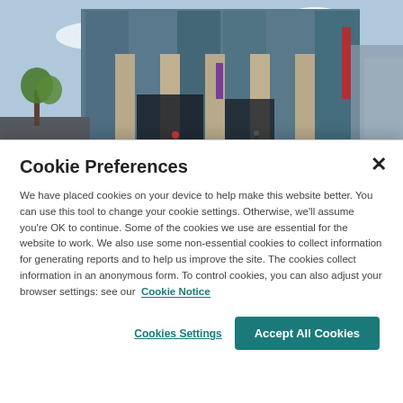[Figure (photo): Exterior photo of a modern glass and concrete office/university building with large pillars, street-level view, blue sky with clouds, trees in foreground]
Cookie Preferences
We have placed cookies on your device to help make this website better. You can use this tool to change your cookie settings. Otherwise, we'll assume you're OK to continue. Some of the cookies we use are essential for the website to work. We also use some non-essential cookies to collect information for generating reports and to help us improve the site. The cookies collect information in an anonymous form. To control cookies, you can also adjust your browser settings: see our Cookie Notice
Cookies Settings
Accept All Cookies